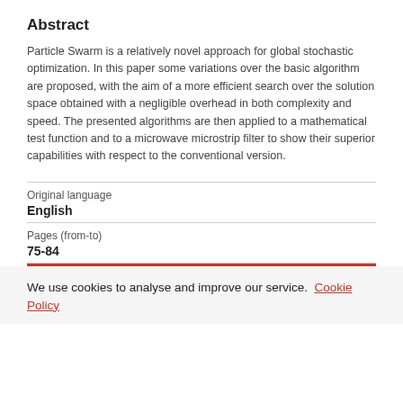Abstract
Particle Swarm is a relatively novel approach for global stochastic optimization. In this paper some variations over the basic algorithm are proposed, with the aim of a more efficient search over the solution space obtained with a negligible overhead in both complexity and speed. The presented algorithms are then applied to a mathematical test function and to a microwave microstrip filter to show their superior capabilities with respect to the conventional version.
| Original language | English |
| Pages (from-to) | 75-84 |
We use cookies to analyse and improve our service. Cookie Policy